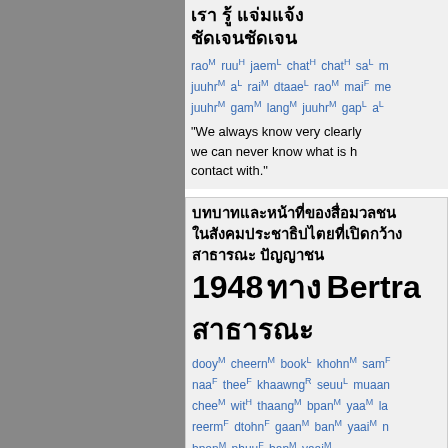Thai text title with romanization: rao M ruu H jaem L chat H chat H sa L ... juuhr M a L rai M dtaae L rao M mai F ... juuhr M gam M lang M juuhr M gap L a L
"We always know very clearly... we can never know what is h... contact with."
Thai text block 2 with title: 1948 [Thai] Bertra [Thai]
dooy M cheern M book L khohn M sam F naa F thee F khaawng R seuu L muaan... chee M wit H thaang M bpan M yaa M la... reerm F dtohn F gaan M ban M yaai M n... bpen M phuu F ban M yaai M
"...which involves inviting cer... under its journalistic respons... intellectual and cultural life. D... lecture by Bertrand Russell."